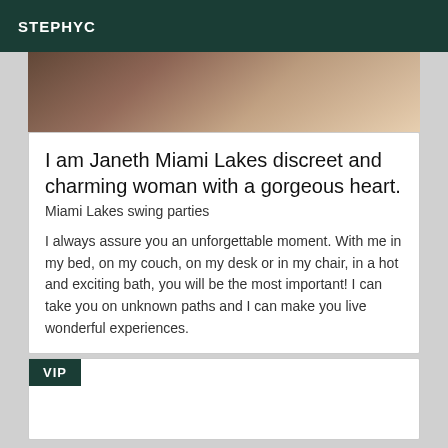STEPHYC
[Figure (photo): Partial photo of a person, cropped, dark toned background]
I am Janeth Miami Lakes discreet and charming woman with a gorgeous heart.
Miami Lakes swing parties
I always assure you an unforgettable moment. With me in my bed, on my couch, on my desk or in my chair, in a hot and exciting bath, you will be the most important! I can take you on unknown paths and I can make you live wonderful experiences.
VIP